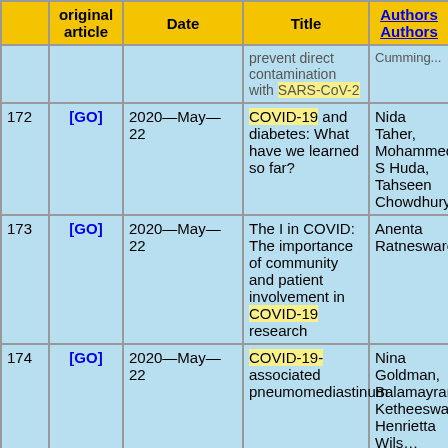|  | original article | Date | Title | Authors / Authors |
| --- | --- | --- | --- | --- |
|  |  |  | prevent direct contamination with SARS-CoV-2 | Cumming... |
| 172 | [GO] | 2020—May—22 | COVID-19 and diabetes: What have we learned so far? | Nida Taher, Mohammed S Huda, Tahseen Chowdhury |
| 173 | [GO] | 2020—May—22 | The I in COVID: The importance of community and patient involvement in COVID-19 research | Anenta Ratneswaren |
| 174 | [GO] | 2020—May—22 | COVID-19-associated pneumomediastinum | Nina Goldman, Balamayran Ketheeswaran, Henrietta Wils... |
| 175 | [GO] | 2020—May—18 | Thrombotic risk in COVID-19: a case series and case-control study | Simon M Stoneham, Ka... M Milne, Elisabeth Nut... Georgina H F... Beattie R... |